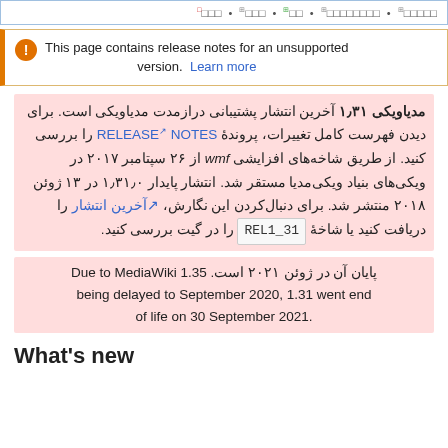□□□□□ • □□□□□□□□ • □□ • □□□ • □□□
This page contains release notes for an unsupported version. Learn more
مدیاویکی ۱٫۳۱ آخرین انتشار پشتیبانی درازمدت مدیاویکی است. برای دیدن فهرست کامل تغییرات، پروندهٔ RELEASE NOTES را بررسی کنید. از طریق شاخه‌های افزایشی wmf از ۲۶ سپتامبر ۲۰۱۷ در ویکی‌های بنیاد ویکی‌مدیا مستقر شد. انتشار پایدار ۱٫۳۱٫۰ در ۱۳ ژوئن ۲۰۱۸ منتشر شد. برای دنبال‌کردن این نگارش، آخرین انتشار را دریافت کنید یا شاخهٔ REL1_31 را در گیت بررسی کنید.
پایان آن در ژوئن ۲۰۲۱ است. Due to MediaWiki 1.35 being delayed to September 2020, 1.31 went end of life on 30 September 2021.
What's new